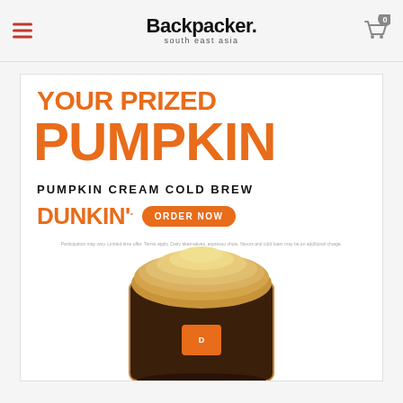Backpacker. south east asia
[Figure (illustration): Dunkin' Pumpkin Cream Cold Brew advertisement. Large orange bold text reads 'YOUR PRIZED PUMPKIN' with 'PUMPKIN CREAM COLD BREW' below, Dunkin' logo and orange 'ORDER NOW' button. A cold brew coffee drink with pumpkin cream topping is shown at the bottom.]